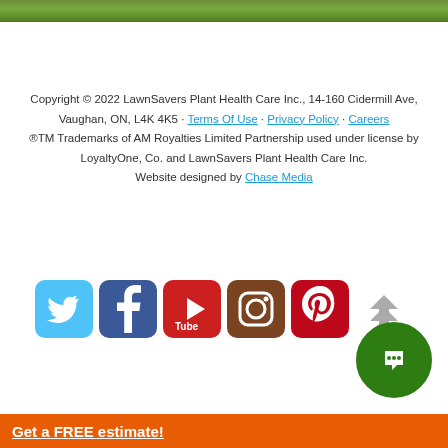[Figure (photo): Green lawn/grass strip at top of page]
Copyright © 2022 LawnSavers Plant Health Care Inc., 14-160 Cidermill Ave, Vaughan, ON, L4K 4K5 · Terms Of Use · Privacy Policy · Careers
®TM Trademarks of AM Royalties Limited Partnership used under license by LoyaltyOne, Co. and LawnSavers Plant Health Care Inc.
Website designed by Chase Media
[Figure (logo): Row of social media icons: Twitter (blue), Facebook (dark blue), YouTube (red), Instagram (brown), Pinterest (red), and an up-arrow chevron. Plus a green chat bubble icon in bottom right.]
Get a FREE estimate!